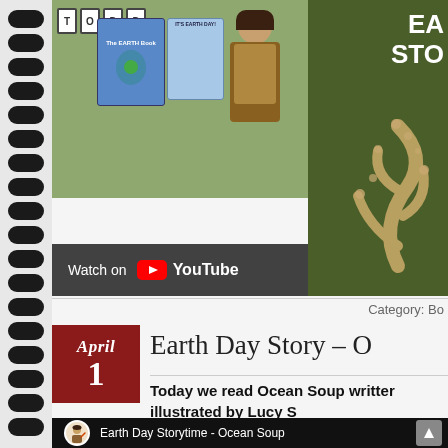[Figure (screenshot): YouTube video thumbnail showing a woman holding Earth Day books, with TODD letters on wall, The Earth Book visible, dark overlay with Watch on YouTube button, and green panel with EA/STO text and leaf decorations on right]
Category: Bo
Earth Day Story – O
April 1
Today we read Ocean Soup written illustrated by Lucy S
[Figure (screenshot): YouTube video embed showing Earth Day Storytime - Ocean Soup with cartoon teacher avatar and scroll up button]